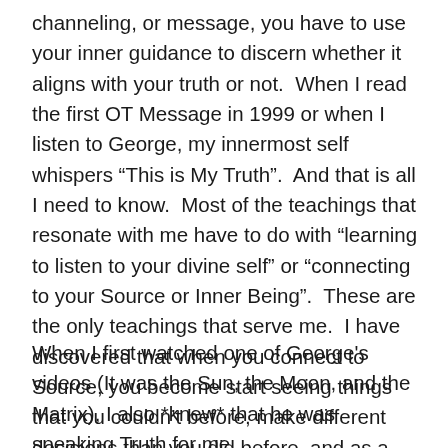channeling, or message, you have to use your inner guidance to discern whether it aligns with your truth or not.  When I read the first OT Message in 1999 or when I listen to George, my innermost self whispers “This is My Truth".  And that is all I need to know.  Most of the teachings that resonate with me have to do with “learning to listen to your divine self” or “connecting to your Source or Inner Being”.  These are the only teachings that serve me.  I have discovered that when you connect to Source, you become start seeing things that you couldn’t before, make different decisions than you did before, and as a result your life just gets better and better.
When I first watched one of George's videos (It was the Sun, the Moon, and the Matrix), I also *knew* that he was speaking Truth for me.